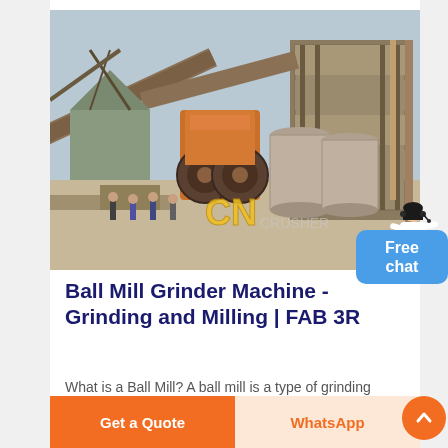[Figure (photo): Industrial ball mill grinder machine installation at a mining or construction site. Large rusty orange-colored machinery with conveyor belts, grinding drums, cylindrical silos, and several workers visible in the foreground. 'CN' logo watermark visible in yellow on the image.]
Ball Mill Grinder Machine - Grinding and Milling | FAB 3R
What is a Ball Mill? A ball mill is a type of grinding